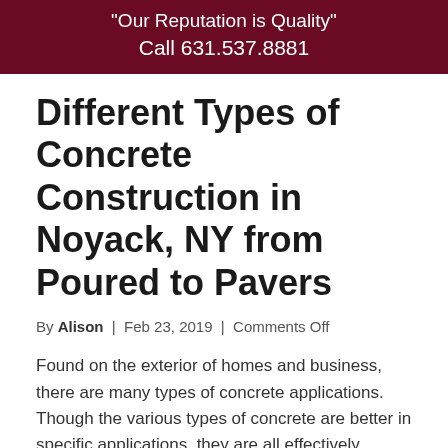"Our Reputation is Quality"
Call 631.537.8881
Different Types of Concrete Construction in Noyack, NY from Poured to Pavers
By Alison | Feb 23, 2019 | Comments Off
Found on the exterior of homes and business, there are many types of concrete applications.  Though the various types of concrete are better in specific applications, they are all effectively cleaned with the use of professional pressure cleaning services.  Bearing this in mind, we at Woodedge Powerwashing would like to take the opportunity to list...